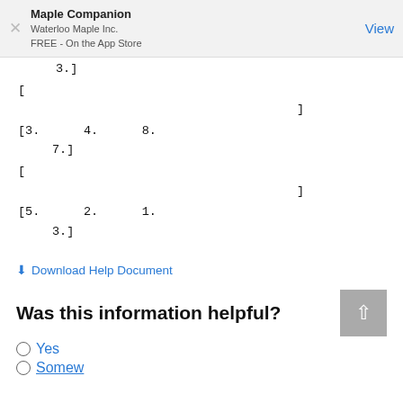Maple Companion
Waterloo Maple Inc.
FREE - On the App Store
View
3.]
[
                              ]
[3.      4.      8.
    7.]
[
                              ]
[5.      2.      1.
    3.]
Download Help Document
Was this information helpful?
Yes
Somewhat